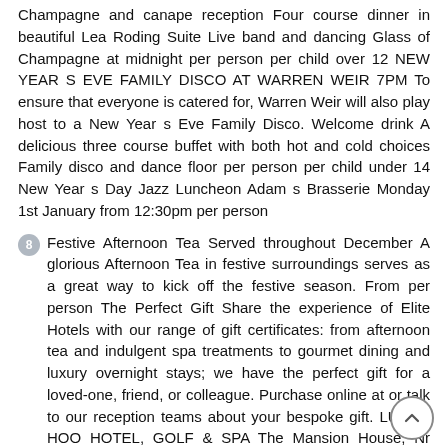Champagne and canape reception Four course dinner in beautiful Lea Roding Suite Live band and dancing Glass of Champagne at midnight per person per child over 12 NEW YEAR S EVE FAMILY DISCO AT WARREN WEIR 7PM To ensure that everyone is catered for, Warren Weir will also play host to a New Year s Eve Family Disco. Welcome drink A delicious three course buffet with both hot and cold choices Family disco and dance floor per person per child under 14 New Year s Day Jazz Luncheon Adam s Brasserie Monday 1st January from 12:30pm per person
8 Festive Afternoon Tea Served throughout December A glorious Afternoon Tea in festive surroundings serves as a great way to kick off the festive season. From per person The Perfect Gift Share the experience of Elite Hotels with our range of gift certificates: from afternoon tea and indulgent spa treatments to gourmet dining and luxury overnight stays; we have the perfect gift for a loved-one, friend, or colleague. Purchase online at or talk to our reception teams about your bespoke gift. LUTON HOO HOTEL, GOLF & SPA The Mansion House, Nr Luton, Bedfordshire, LU1 3TQ